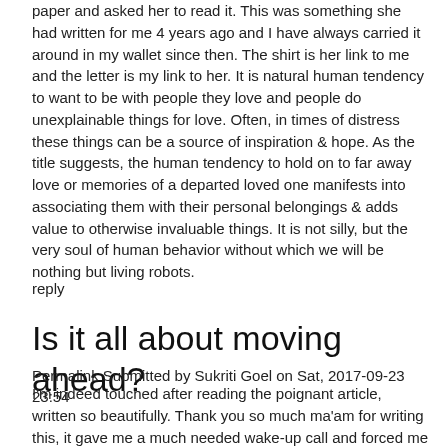paper and asked her to read it. This was something she had written for me 4 years ago and I have always carried it around in my wallet since then. The shirt is her link to me and the letter is my link to her. It is natural human tendency to want to be with people they love and people do unexplainable things for love. Often, in times of distress these things can be a source of inspiration & hope. As the title suggests, the human tendency to hold on to far away love or memories of a departed loved one manifests into associating them with their personal belongings & adds value to otherwise invaluable things. It is not silly, but the very soul of human behavior without which we will be nothing but living robots.
reply
Is it all about moving ahead?
Permalink Submitted by Sukriti Goel on Sat, 2017-09-23 23:54
I'm indeed touched after reading the poignant article, written so beautifully. Thank you so much ma'am for writing this, it gave me a much needed wake-up call and forced me to stop and reflect which we as MBA students require but don't generally get time for. My coming to Mumbai for the first time out of my hometown after leaving my home, my parents and my younger brother was the reason I could relate to the blog so much. I was always under the impression that I have to be away from my family only for these two years while I'm pursuing my MBA. I always imagine myself going back to Delhi, to my parents and continuing my life exactly from where I left it. However, post reading the blog I realised that perhaps I was living in a fantasy world. We don't have the luxury to choose what happens even